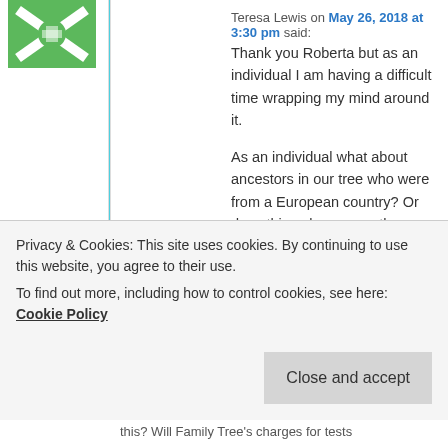[Figure (illustration): User avatar image — green and white abstract icon with X/star pattern]
Teresa Lewis on May 26, 2018 at 3:30 pm said:
Thank you Roberta but as an individual I am having a difficult time wrapping my mind around it.
As an individual what about ancestors in our tree who were from a European country? Or does this only concern the living?
What about companies like People Search, White Pages and others like them?
How will this affect private messages on Ancestry from someone in the EU? Will Ancestry cut off all
this? Will Family Tree's charges for tests
Privacy & Cookies: This site uses cookies. By continuing to use this website, you agree to their use.
To find out more, including how to control cookies, see here: Cookie Policy
Close and accept